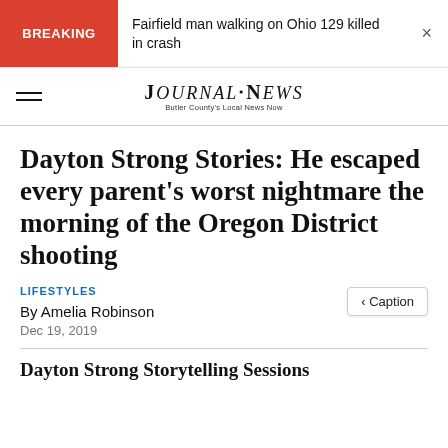BREAKING — Fairfield man walking on Ohio 129 killed in crash
[Figure (logo): Journal-News logo — Butler County's Local News Now]
Dayton Strong Stories: He escaped every parent's worst nightmare the morning of the Oregon District shooting
LIFESTYLES
By Amelia Robinson
Dec 19, 2019
Dayton Strong Storytelling Sessions